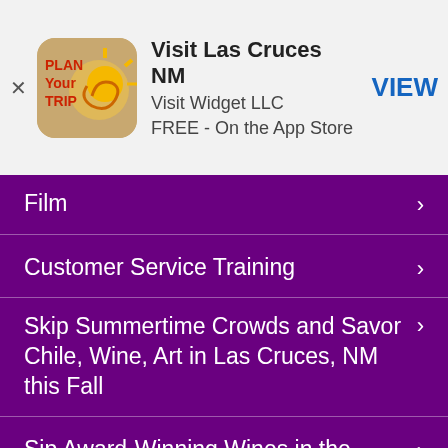[Figure (logo): Plan Your Trip app icon with sun and spiral design]
Visit Las Cruces NM
Visit Widget LLC
FREE - On the App Store
VIEW
Film
Customer Service Training
Skip Summertime Crowds and Savor Chile, Wine, Art in Las Cruces, NM this Fall
Sip Award-Winning Wines in the Oldest Wine-Producing Region in the Nation
Experience Out-of-this-World Thrills in